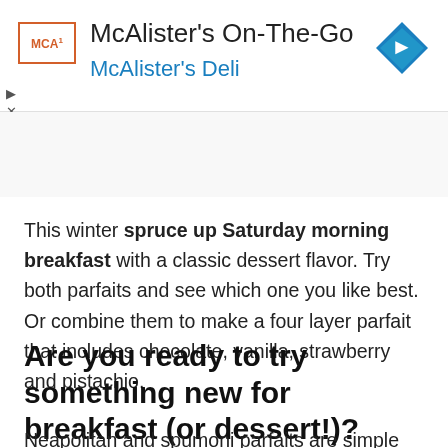[Figure (screenshot): McAlister's On-The-Go app advertisement banner with MCA logo, title text, blue subtitle 'McAlister's Deli', and a blue map/navigation diamond icon on the right.]
[Figure (photo): Partial image strip showing red/food imagery at the top of the article section, with a chevron-up arrow on the left.]
This winter spruce up Saturday morning breakfast with a classic dessert flavor. Try both parfaits and see which one you like best. Or combine them to make a four layer parfait that includes chocolate, vanilla, strawberry and pistachio.
Are you ready to try something new for breakfast (or dessert!)?
Neapolitan and spumoni parfaits are simple